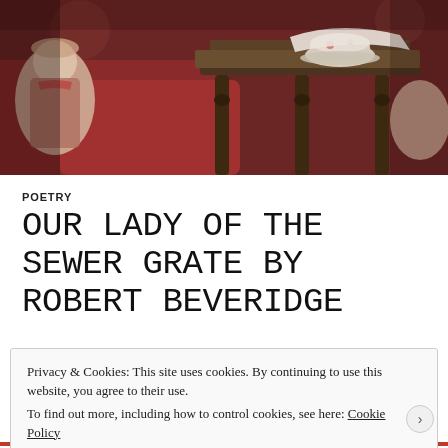[Figure (photo): Vintage scene with porcelain dolls on red/burgundy upholstered furniture, a dark wooden side table with ornate legs, and a tea cup and saucer on top. Blurred, warm-toned photograph with bokeh effect.]
POETRY
OUR LADY OF THE SEWER GRATE BY ROBERT BEVERIDGE
Privacy & Cookies: This site uses cookies. By continuing to use this website, you agree to their use.
To find out more, including how to control cookies, see here: Cookie Policy
Close and accept